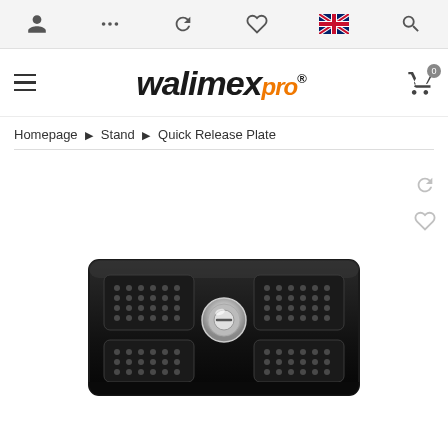Navigation bar with icons: user, menu, refresh, heart/wishlist, UK flag, search
[Figure (logo): walimex pro logo in italic bold black and orange text with registered trademark symbol]
Homepage > Stand > Quick Release Plate
[Figure (photo): Black quick release plate with textured grip pads and central mounting screw, photographed in black and white]